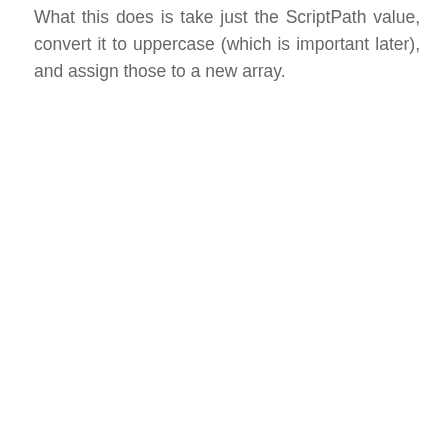What this does is take just the ScriptPath value, convert it to uppercase (which is important later), and assign those to a new array.